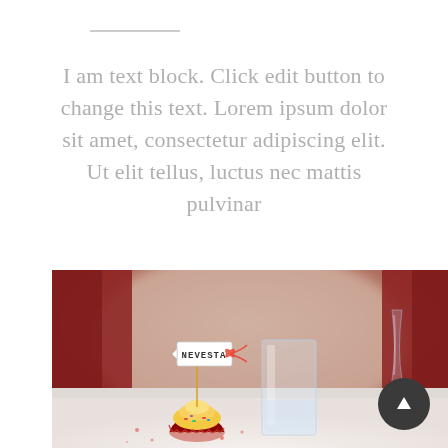I am text block. Click edit button to change this text. Lorem ipsum dolor sit amet, consectetur adipiscing elit. Ut elit tellus, luctus nec mattis pulvinar
[Figure (photo): Close-up photo of a cupcake with a tag reading 'NEVESTA' on a toothpick, alongside a glass of water and a champagne flute, with blurred red chairs in the background.]